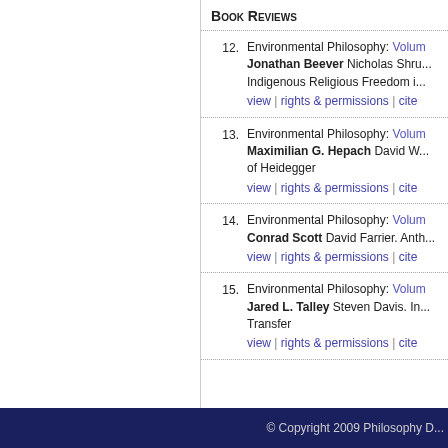Book Reviews
12. Environmental Philosophy: Volum... Jonathan Beever Nicholas Shru... Indigenous Religious Freedom i... view | rights & permissions | cite
13. Environmental Philosophy: Volum... Maximilian G. Hepach David W... of Heidegger view | rights & permissions | cite
14. Environmental Philosophy: Volum... Conrad Scott David Farrier. Anth... view | rights & permissions | cite
15. Environmental Philosophy: Volum... Jared L. Talley Steven Davis. In... Transfer view | rights & permissions | cite
© Copyright 2009 Philosophy D...